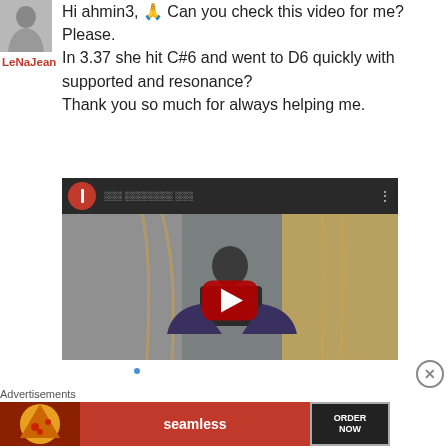[Figure (photo): Small grayscale avatar photo of a person]
LeNaJean
Hi ahmin3, 🙏 Can you check this video for me? Please.
In 3.37 she hit C#6 and went to D6 quickly with supported and resonance?
Thank you so much for always helping me.
[Figure (screenshot): YouTube video embed thumbnail showing a person sitting in a hanging chair, with a red play button in the center and a video top bar with channel icon and title]
[Figure (photo): Seamless food delivery advertisement banner with pizza image, seamless logo, and ORDER NOW button]